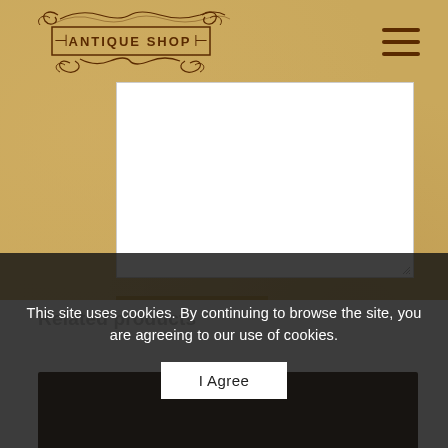[Figure (logo): Antique Shop decorative logo with ornamental scrollwork border and text 'ANTIQUE SHOP']
[Figure (other): White textarea input box with resize handle]
Send
Related products
This site uses cookies. By continuing to browse the site, you are agreeing to our use of cookies.
I Agree